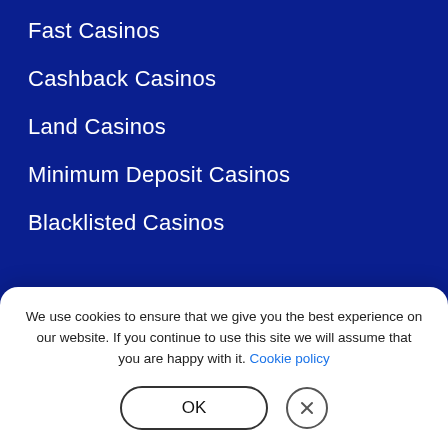Fast Casinos
Cashback Casinos
Land Casinos
Minimum Deposit Casinos
Blacklisted Casinos
[Figure (logo): 19+ age badge (red circle), BeGambleAware.org logo in white bold text, and Canada Safety Council triangular logo]
We use cookies to ensure that we give you the best experience on our website. If you continue to use this site we will assume that you are happy with it. Cookie policy
OK